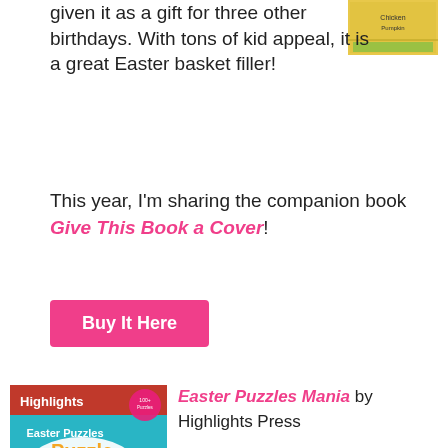given it as a gift for three other birthdays. With tons of kid appeal, it is a great Easter basket filler!
[Figure (illustration): Book cover thumbnail with yellow background]
This year, I'm sharing the companion book Give This Book a Cover!
Buy It Here
[Figure (illustration): Easter Puzzles Mania book cover by Highlights Press featuring bunnies, flowers, and puzzle text on teal background]
Easter Puzzles Mania by Highlights Press (Ages 6 and up) We are huge fans of Highlights magazine, so I couldn't resist adding